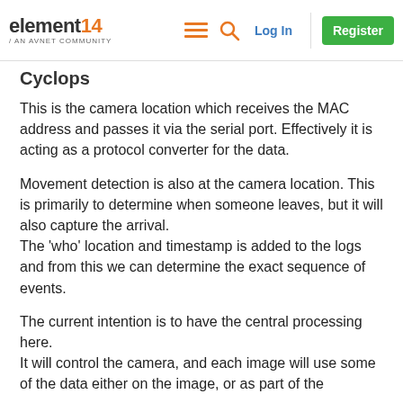element14 / AN AVNET COMMUNITY | Log In | Register
Cyclops
This is the camera location which receives the MAC address and passes it via the serial port. Effectively it is acting as a protocol converter for the data.
Movement detection is also at the camera location. This is primarily to determine when someone leaves, but it will also capture the arrival. The 'who' location and timestamp is added to the logs and from this we can determine the exact sequence of events.
The current intention is to have the central processing here. It will control the camera, and each image will use some of the data either on the image, or as part of the